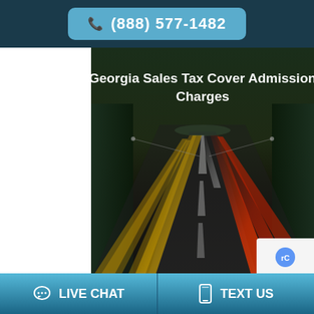(888) 577-1482
[Figure (photo): Aerial view of a highway at night with long-exposure light trails from vehicle headlights and taillights, showing red and yellow streaks converging toward a vanishing point]
Georgia Sales Tax Cover Admission Charges
Next Post
Texas Sales Tax Audit on Cover Charges
LIVE CHAT   TEXT US